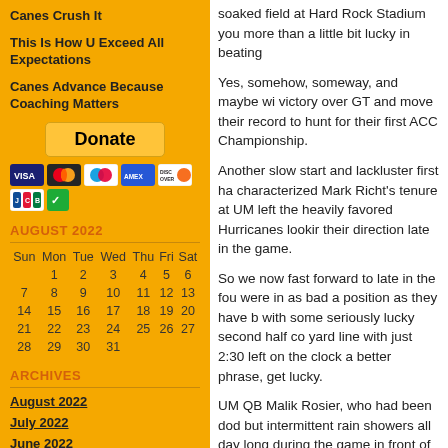Canes Crush It
This Is How U Exceed All Expectations
Canes Advance Because Coaching Matters
[Figure (other): PayPal Donate button with payment card icons (VISA, Mastercard, Maestro, American Express, Discover, JCB, and a green icon)]
AUGUST 2022
| Sun | Mon | Tue | Wed | Thu | Fri | Sat |
| --- | --- | --- | --- | --- | --- | --- |
|  | 1 | 2 | 3 | 4 | 5 | 6 |
| 7 | 8 | 9 | 10 | 11 | 12 | 13 |
| 14 | 15 | 16 | 17 | 18 | 19 | 20 |
| 21 | 22 | 23 | 24 | 25 | 26 | 27 |
| 28 | 29 | 30 | 31 |  |  |  |
ARCHIVES
August 2022
July 2022
June 2022
soaked field at Hard Rock Stadium you got more than a little bit lucky in beating
Yes, somehow, someway, and maybe with a little luck, the Canes posted a victory over GT and move their record to hunt for their first ACC Championship.
Another slow start and lackluster first half characterized Mark Richt's tenure at UM left the heavily favored Hurricanes looking their direction late in the game.
So we now fast forward to late in the fourth quarter, the Canes were in as bad a position as they have been all season. But with some seriously lucky second half play, they were at the GT yard line with just 2:30 left on the clock and needed to, for better phrase, get lucky.
UM QB Malik Rosier, who had been dodging but intermittent rain showers all day long, during the game in front of the hyped up
Yet after a couple of safe, quick screen passes to Christopher Herndon he led the Hurricanes up and Lady Luck appeared to be smiling